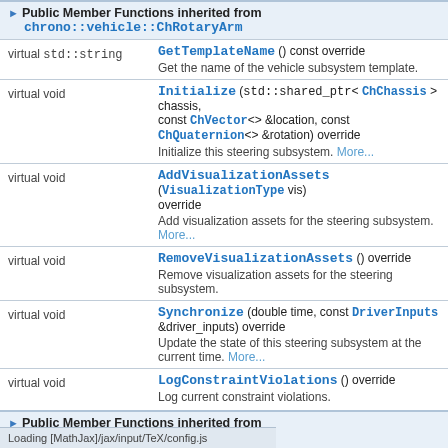Public Member Functions inherited from chrono::vehicle::ChRotaryArm
| Signature | Description |
| --- | --- |
| virtual std::string GetTemplateName () const override | Get the name of the vehicle subsystem template. |
| virtual void Initialize (std::shared_ptr< ChChassis > chassis, const ChVector<> &location, const ChQuaternion<> &rotation) override | Initialize this steering subsystem. More... |
| virtual void AddVisualizationAssets (VisualizationType vis) override | Add visualization assets for the steering subsystem. More... |
| virtual void RemoveVisualizationAssets () override | Remove visualization assets for the steering subsystem. |
| virtual void Synchronize (double time, const DriverInputs &driver_inputs) override | Update the state of this steering subsystem at the current time. More... |
| virtual void LogConstraintViolations () override | Log current constraint violations. |
Public Member Functions inherited from chrono::vehicle::ChSteering
| Signature | Description |
| --- | --- |
| const ChFrame & GetRelTransform () const | ...steering subsystem relative to |
Loading [MathJax]/jax/input/TeX/config.js